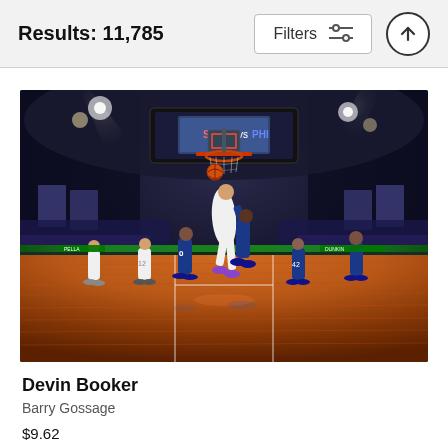Results: 11,785
Filters
[Figure (photo): NBA basketball game photo showing Devin Booker driving to the basket in a Phoenix Suns game against the Philadelphia 76ers. Players in blue (76ers) uniforms and white (Suns) uniforms. Wide-angle shot from court level looking up at the hoop in a packed arena with orange wood court floor visible.]
Devin Booker
Barry Gossage
$9.62